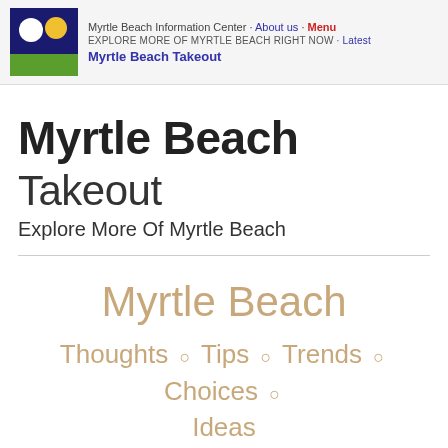Myrtle Beach Information Center · About us · Menu
EXPLORE MORE OF MYRTLE BEACH RIGHT NOW · Latest
Myrtle Beach Takeout
Myrtle Beach Takeout
Explore More Of Myrtle Beach
Myrtle Beach
Thoughts ○ Tips ○ Trends ○ Choices ○ Ideas